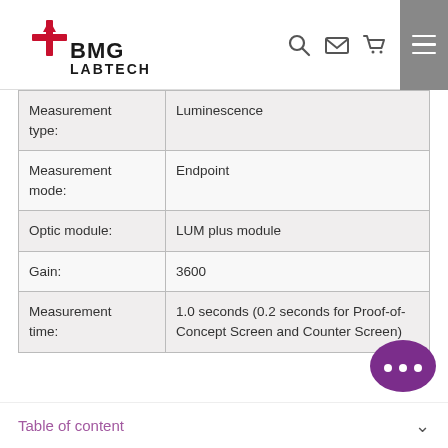BMG LABTECH
| Measurement type: | Luminescence |
| Measurement mode: | Endpoint |
| Optic module: | LUM plus module |
| Gain: | 3600 |
| Measurement time: | 1.0 seconds (0.2 seconds for Proof-of-Concept Screen and Counter Screen) |
Table of content